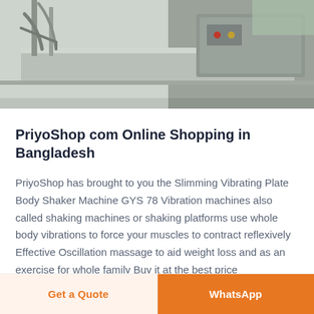[Figure (photo): Industrial machine / food processing or shaking plate equipment in stainless steel, photographed from above at an angle]
PriyoShop com Online Shopping in Bangladesh
PriyoShop has brought to you the Slimming Vibrating Plate Body Shaker Machine GYS 78 Vibration machines also called shaking machines or shaking platforms use whole body vibrations to force your muscles to contract reflexively Effective Oscillation massage to aid weight loss and as an exercise for whole family Buy it at the best price
Get a Quote
WhatsApp